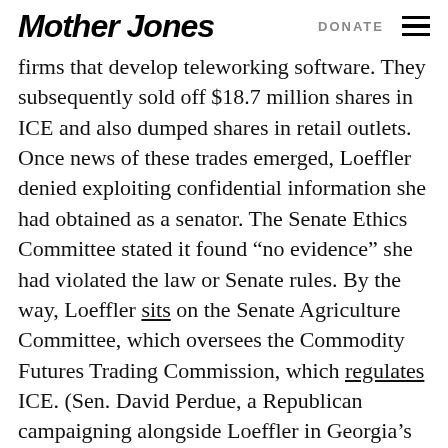Mother Jones | DONATE
firms that develop teleworking software. They subsequently sold off $18.7 million shares in ICE and also dumped shares in retail outlets. Once news of these trades emerged, Loeffler denied exploiting confidential information she had obtained as a senator. The Senate Ethics Committee stated it found “no evidence” she had violated the law or Senate rules. By the way, Loeffler sits on the Senate Agriculture Committee, which oversees the Commodity Futures Trading Commission, which regulates ICE. (Sen. David Perdue, a Republican campaigning alongside Loeffler in Georgia’s other run-off election on January 5, was also snared in a stock-selling scandal. At least one case of his